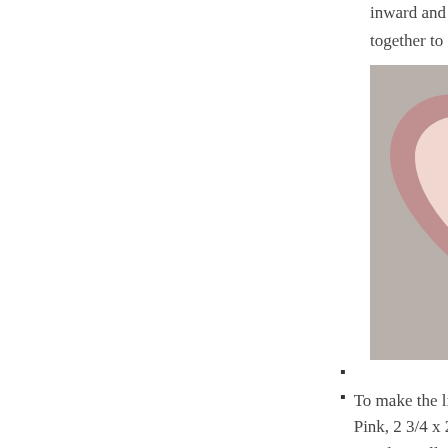inward and adhere the ends together to form the heart
[Figure (photo): A heart-shaped box or form made of pink/petal pink paper or cardstock, showing the finished heart shape with a watermark 'Mary Brown']
To make the little box Petal Pink, 2 3/4 x 2 7/8, score at 3/4 along all sides, cut as below and make little box
[Figure (photo): A flat cut-out template/die-cut pattern for a small box shown in pink/petal pink color on grey background, with a watermark 'Mary Brown']
[Figure (photo): Bottom of page partially visible photo]